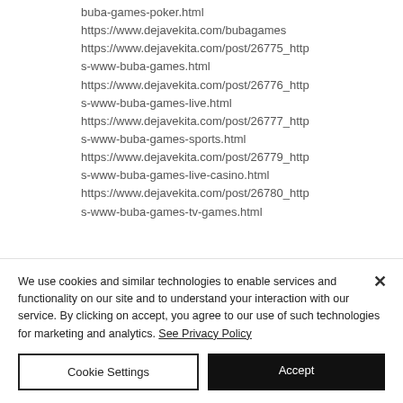buba-games-poker.html
https://www.dejavekita.com/bubagames
https://www.dejavekita.com/post/26775_https-www-buba-games.html
https://www.dejavekita.com/post/26776_https-www-buba-games-live.html
https://www.dejavekita.com/post/26777_https-www-buba-games-sports.html
https://www.dejavekita.com/post/26779_https-www-buba-games-live-casino.html
https://www.dejavekita.com/post/26780_https-www-buba-games-tv-games.html
We use cookies and similar technologies to enable services and functionality on our site and to understand your interaction with our service. By clicking on accept, you agree to our use of such technologies for marketing and analytics. See Privacy Policy